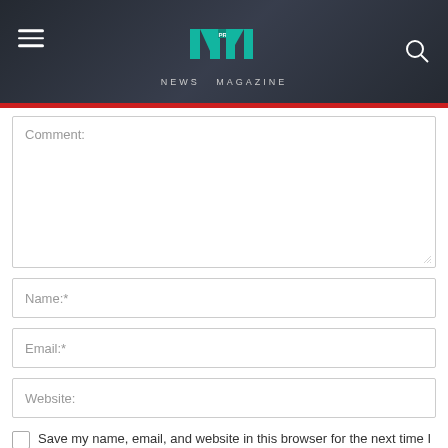NEWS MAGAZINE
Comment:
Name:*
Email:*
Website:
Save my name, email, and website in this browser for the next time I comment.